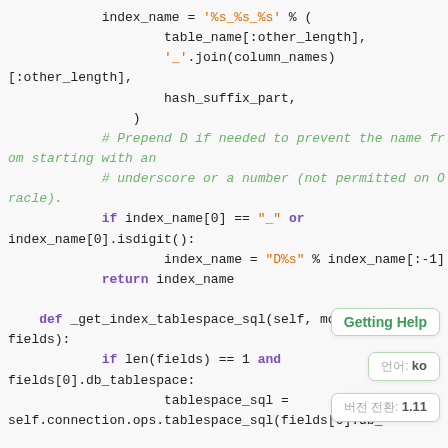[Figure (screenshot): Python source code snippet showing index name generation logic with syntax highlighting. Keywords in purple/bold, strings in orange, comments in green italic. Includes sidebar tooltips: 'Getting Help', '언어: ko', '버전 전환: 1.11'.]